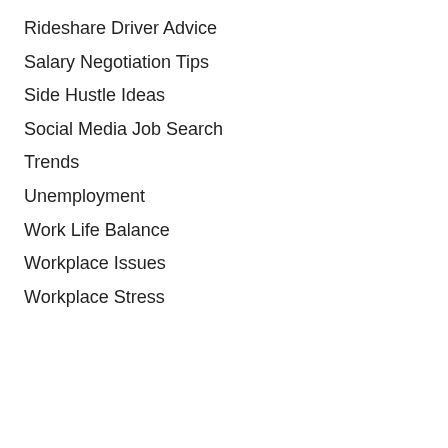Rideshare Driver Advice
Salary Negotiation Tips
Side Hustle Ideas
Social Media Job Search
Trends
Unemployment
Work Life Balance
Workplace Issues
Workplace Stress